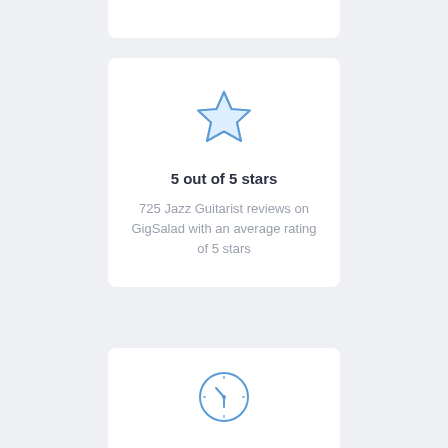[Figure (illustration): Blue outline star icon]
5 out of 5 stars
725 Jazz Guitarist reviews on GigSalad with an average rating of 5 stars
[Figure (illustration): Blue outline clock icon]
1.4 days on average to book
From request to booking, it